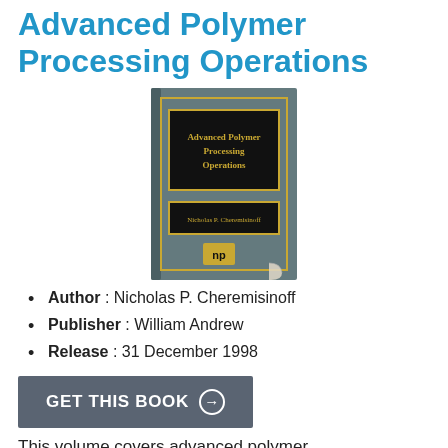Advanced Polymer Processing Operations
[Figure (photo): Book cover of 'Advanced Polymer Processing Operations' by Nicholas P. Cheremisinoff, published by William Andrew (Noyes Publications). Dark teal/slate cover with gold-bordered black title label and author name label, and 'np' publisher logo at bottom.]
Author : Nicholas P. Cheremisinoff
Publisher : William Andrew
Release : 31 December 1998
GET THIS BOOK →
This volume covers advanced polymer processing operations and is designed to